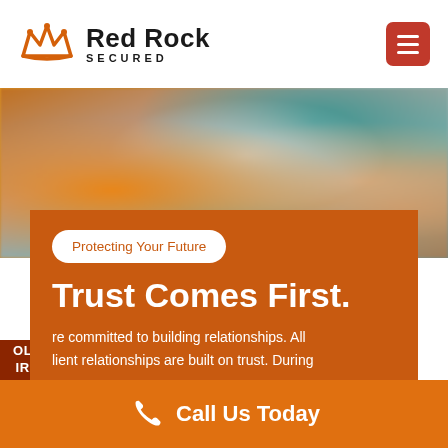[Figure (logo): Red Rock Secured logo with crown icon in orange and company name in bold dark text]
[Figure (photo): Blurred background photo of coins and documents on a table with teal and orange tones]
Protecting Your Future
Trust Comes First.
re committed to building relationships. All lient relationships are built on trust. During
OLD IRA
Call Us Today